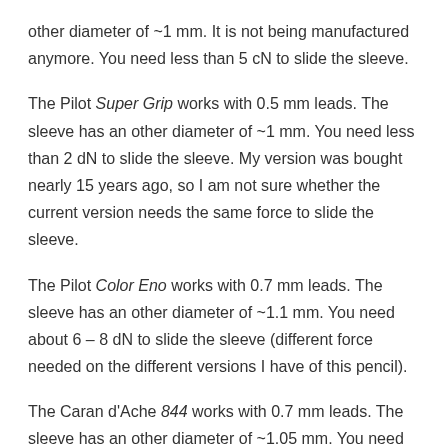other diameter of ~1 mm. It is not being manufactured anymore. You need less than 5 cN to slide the sleeve.
The Pilot Super Grip works with 0.5 mm leads. The sleeve has an other diameter of ~1 mm. You need less than 2 dN to slide the sleeve. My version was bought nearly 15 years ago, so I am not sure whether the current version needs the same force to slide the sleeve.
The Pilot Color Eno works with 0.7 mm leads. The sleeve has an other diameter of ~1.1 mm. You need about 6 – 8 dN to slide the sleeve (different force needed on the different versions I have of this pencil).
The Caran d'Ache 844 works with 0.7 mm leads. The sleeve has an other diameter of ~1.05 mm. You need about 1 N to slide the sleeve.